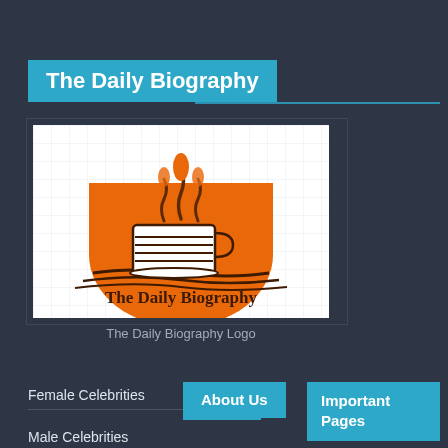The Daily Biography
[Figure (logo): The Daily Biography logo: an orange semicircle with a coffee cup and steam, with text 'The Daily Biography' below in brown serif font, on a white grid background]
The Daily Biography Logo
Female Celebrities
About Us
Important Pages
Male Celebrities